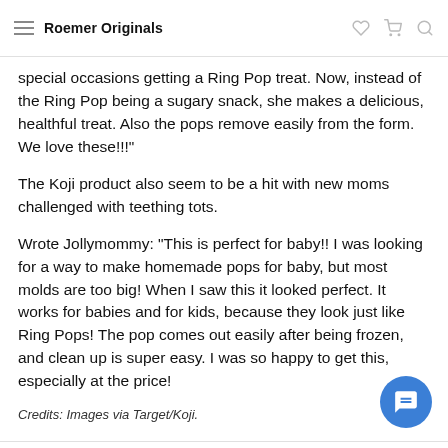Roemer Originals
special occasions getting a Ring Pop treat. Now, instead of the Ring Pop being a sugary snack, she makes a delicious, healthful treat. Also the pops remove easily from the form. We love these!!!"
The Koji product also seem to be a hit with new moms challenged with teething tots.
Wrote Jollymommy: "This is perfect for baby!! I was looking for a way to make homemade pops for baby, but most molds are too big! When I saw this it looked perfect. It works for babies and for kids, because they look just like Ring Pops! The pop comes out easily after being frozen, and clean up is super easy. I was so happy to get this, especially at the price!
Credits: Images via Target/Koji.